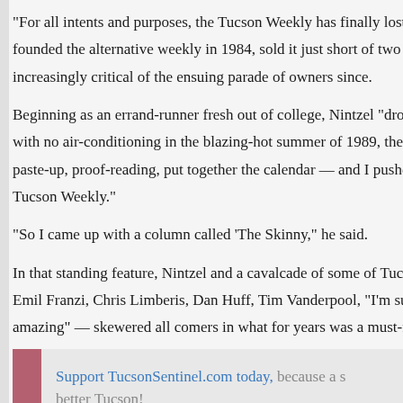"For all intents and purposes, the Tucson Weekly has finally lost its founded the alternative weekly in 1984, sold it just short of two de increasingly critical of the ensuing parade of owners since.
Beginning as an errand-runner fresh out of college, Nintzel "drove with no air-conditioning in the blazing-hot summer of 1989, then h paste-up, proof-reading, put together the calendar — and I pushed t Tucson Weekly."
"So I came up with a column called 'The Skinny," he said.
In that standing feature, Nintzel and a cavalcade of some of Tucso Emil Franzi, Chris Limberis, Dan Huff, Tim Vanderpool, "I'm sure amazing" — skewered all comers in what for years was a must-rea
Support TucsonSentinel.com today, because a s better Tucson!
"I'm proud of the work we did covering politics, and I've really enj with a team of young journalists, many of whom have gone on to b